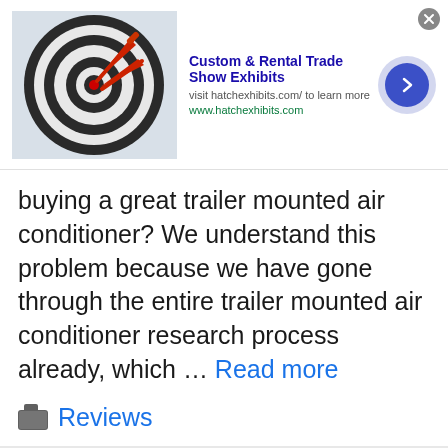[Figure (infographic): Ad banner: Custom & Rental Trade Show Exhibits, with dart board image, visit hatchexhibits.com/ to learn more, www.hatchexhibits.com, blue arrow button, close X button]
buying a great trailer mounted air conditioner? We understand this problem because we have gone through the entire trailer mounted air conditioner research process already, which ... Read more
Reviews
[Figure (infographic): Second ad banner: Custom & Rental Trade Show Exhibits, with dart board image, visit hatchexhibits.com/ to learn more, www.hatchexhibits.com, blue arrow button, close X button]